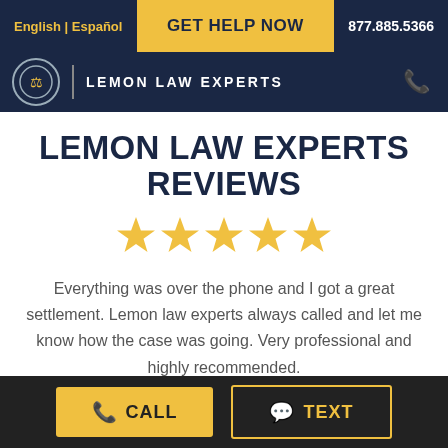English | Español   GET HELP NOW   877.885.5366
[Figure (logo): Lemon Law Experts logo with shield/scales icon and text LEMON LAW EXPERTS on dark navy background]
LEMON LAW EXPERTS REVIEWS
[Figure (other): Five gold star rating icons]
Everything was over the phone and I got a great settlement. Lemon law experts always called and let me know how the case was going. Very professional and highly recommended.
Artur D.
CALL   TEXT